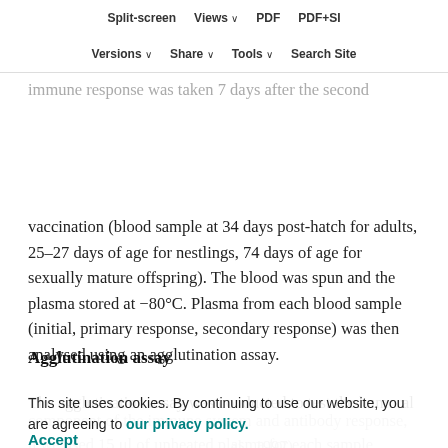Split-screen | SRBC | Views | PDF | PDF+SI
Versions | Share | Tools | Search Site
nestlings throughout the rest of the paper. The second vaccination with SRBCs when administered to the right breast. A blood sample to analyse the secondary immune response was taken 7 days after the second vaccination (blood sample at 34 days post-hatch for adults, 25–27 days of age for nestlings, 74 days of age for sexually mature offspring). The blood was spun and the plasma stored at −80°C. Plasma from each blood sample (initial, primary response, secondary response) was then analysed using an agglutination assay.
Agglutination assay
The agglutination assay was conducted to test the humoral component of the immune system and antibody response.
This site uses cookies. By continuing to use our website, you are agreeing to our privacy policy. Accept
n we used 15 μl of unheated plasma for each sample serially diluted PBS. At 5% at 37°C.